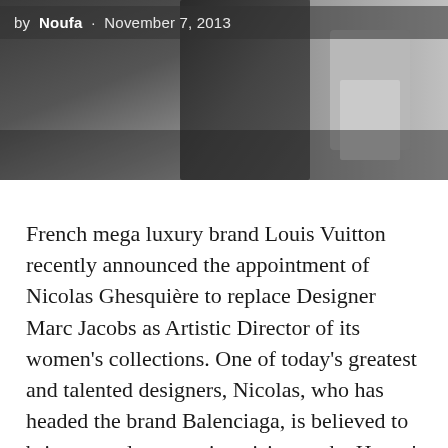[Figure (photo): Grayscale fashion photo banner showing a person, partially visible, dark background]
by Noufa · November 7, 2013
French mega luxury brand Louis Vuitton recently announced the appointment of Nicolas Ghesquière to replace Designer Marc Jacobs as Artistic Director of its women's collections. One of today's greatest and talented designers, Nicolas, who has headed the brand Balenciaga, is believed to bring a modern creative vision to the House's women's collections; thereby building on the values of refinement, savoir faire and extreme quality which are at the heart of the Louis Vuitton